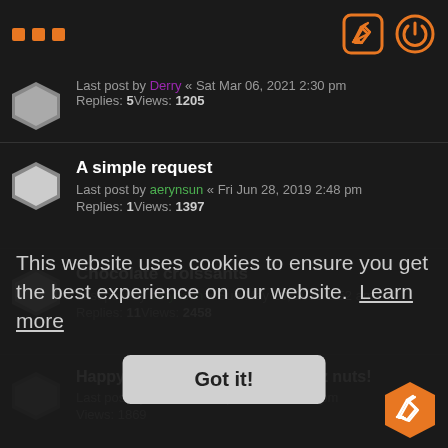... [edit icon] [power icon]
Last post by Derry « Sat Mar 06, 2021 2:30 pm
Replies: 5Views: 1205
A simple request
Last post by aerynsun « Fri Jun 28, 2019 2:48 pm
Replies: 1Views: 1397
Chocolate croissants
Last post by aerynsun « Sun May 26, 2019 6:52 am
Replies: 11Views: 2458
Happy Birthday - Aeryn and Deez nuts!
Last post by Rei « Sun Sep 24, 2017 1:49 pm
Views: 1869
Evo extreme
Last post by 0079 « Mon Sep 11, 2017 8:52 pm
Views: 1454
Chistleburst caves today
This website uses cookies to ensure you get the best experience on our website.  Learn more
Got it!